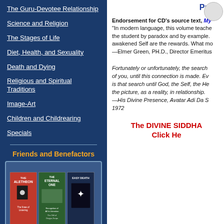The Guru-Devotee Relationship
Science and Religion
The Stages of Life
Diet, Health, and Sexuality
Death and Dying
Religious and Spiritual Traditions
Image-Art
Children and Childrearing
Specials
Friends and Benefactors
[Figure (photo): Collection of book covers from The Dawn Horse Press including The Aletheon, The Eternal One, Easy Death, The Knee of Listening, Recognition of All Is Liberation, and The Gift of Daiyya-Tanpa]
of The Dawn Horse Press
Click here for details.
Price
Endorsement for CD's source text, My
“In modern language, this volume teaches the student by paradox and by example. awakened Self are the rewards. What mo—Elmer Green, PH.D., Director Emeritus
Fortunately or unfortunately, the search of you, until this connection is made. Ev is that search until God, the Self, the He the picture, as a reality, in relationship. —His Divine Presence, Avatar Adi Da S 1972
The DIVINE SIDDHA Click He